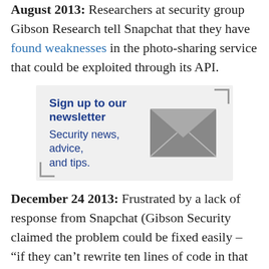August 2013: Researchers at security group Gibson Research tell Snapchat that they have found weaknesses in the photo-sharing service that could be exploited through its API.
[Figure (infographic): Newsletter signup box with envelope icon. Text reads 'Sign up to our newsletter' in bold blue and 'Security news, advice, and tips.' in blue below. A gray envelope illustration appears on the right. Corner bracket decorations appear top-right and bottom-left.]
December 24 2013: Frustrated by a lack of response from Snapchat (Gibson Security claimed the problem could be fixed easily – "if they can't rewrite ten lines of code in that time they should fire their development team"), the researchers published the Snapchat API and detailed how it could be exploited to scoop up